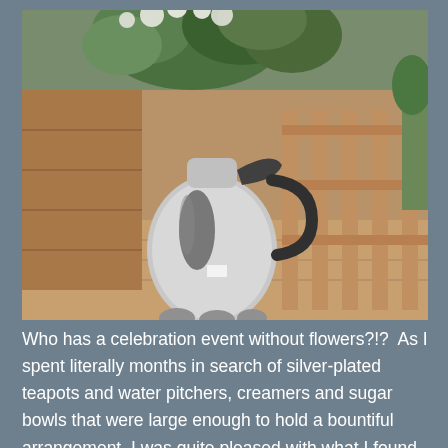[Figure (photo): A silver-plated water pitcher used as a flower vase, filled with white and green floral arrangement, sitting on a wooden deck railing with a wooden bench visible in the background.]
Who has a celebration event without flowers?!?  As I spent literally months in search of silver-plated teapots and water pitchers, creamers and sugar bowls that were large enough to hold a bountiful arrangement, I was quite pleased with what I found.  Being an outdoor